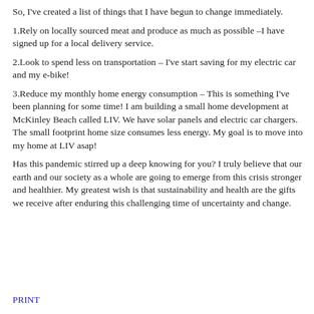So, I've created a list of things that I have begun to change immediately.
1.Rely on locally sourced meat and produce as much as possible –I have signed up for a local delivery service.
2.Look to spend less on transportation – I've start saving for my electric car and my e-bike!
3.Reduce my monthly home energy consumption – This is something I've been planning for some time! I am building a small home development at McKinley Beach called LIV. We have solar panels and electric car chargers. The small footprint home size consumes less energy. My goal is to move into my home at LIV asap!
Has this pandemic stirred up a deep knowing for you? I truly believe that our earth and our society as a whole are going to emerge from this crisis stronger and healthier. My greatest wish is that sustainability and health are the gifts we receive after enduring this challenging time of uncertainty and change.
PRINT